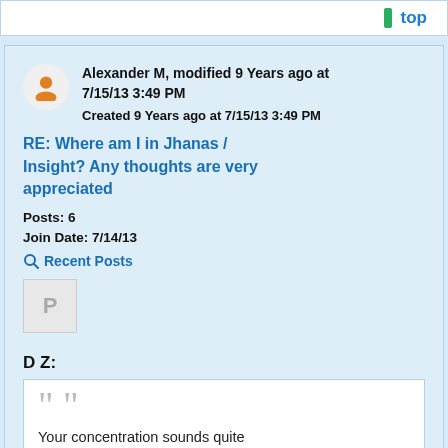top
Alexander M, modified 9 Years ago at 7/15/13 3:49 PM
Created 9 Years ago at 7/15/13 3:49 PM
RE: Where am I in Jhanas / Insight? Any thoughts are very appreciated
Posts: 6
Join Date: 7/14/13
Recent Posts
D Z:
Your concentration sounds quite